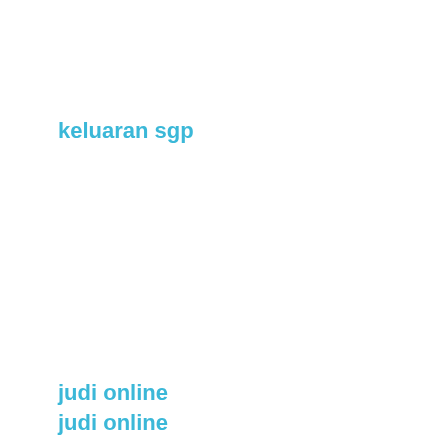keluaran sgp
judi online
slot88
situs judi online